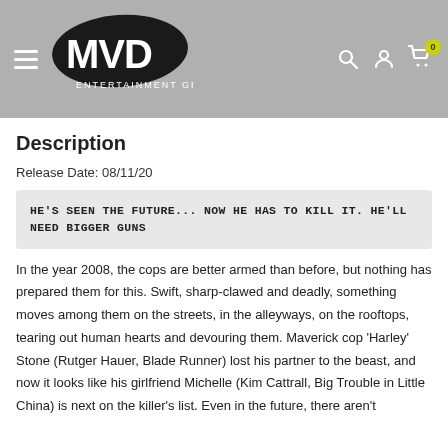MVD Entertainment Group
Description
Release Date: 08/11/20
HE'S SEEN THE FUTURE... NOW HE HAS TO KILL IT. HE'LL NEED BIGGER GUNS
In the year 2008, the cops are better armed than before, but nothing has prepared them for this. Swift, sharp-clawed and deadly, something moves among them on the streets, in the alleyways, on the rooftops, tearing out human hearts and devouring them. Maverick cop 'Harley' Stone (Rutger Hauer, Blade Runner) lost his partner to the beast, and now it looks like his girlfriend Michelle (Kim Cattrall, Big Trouble in Little China) is next on the killer's list. Even in the future, there aren't